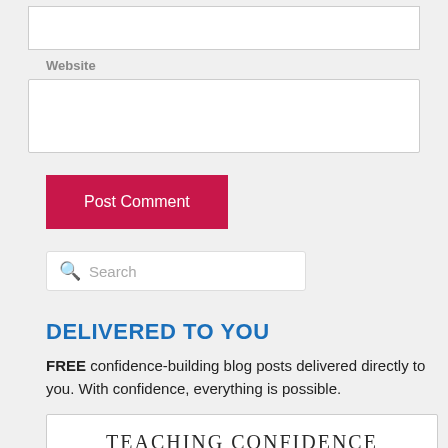[Figure (screenshot): Empty white input box at top of page (partially visible)]
Website
[Figure (screenshot): White text input field for website URL]
Post Comment
[Figure (screenshot): Search bar with magnifying glass icon and placeholder text 'Search']
DELIVERED TO YOU
FREE confidence-building blog posts delivered directly to you. With confidence, everything is possible.
TEACHING CONFIDENCE